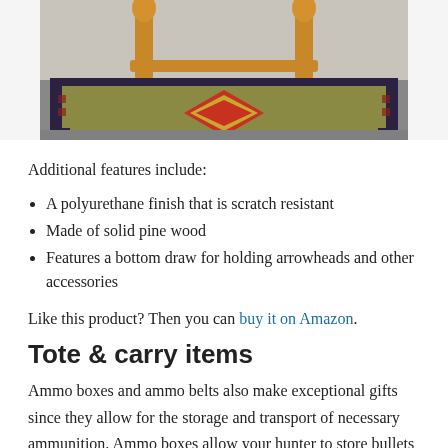[Figure (photo): Photo of a wooden rack/stand holding a decorative rug or carpet with geometric diamond pattern in red and earth tones, placed on a gray surface. The wooden frame is visible at top with ornamental finials.]
Additional features include:
A polyurethane finish that is scratch resistant
Made of solid pine wood
Features a bottom draw for holding arrowheads and other accessories
Like this product? Then you can buy it on Amazon.
Tote & carry items
Ammo boxes and ammo belts also make exceptional gifts since they allow for the storage and transport of necessary ammunition. Ammo boxes allow your hunter to store bullets in a safe place while keeping them locked up. It also allows the hunter to remain organized and to have easy access to the bullets when the hunter needs the ammunition for hunting, target, or range shooting.